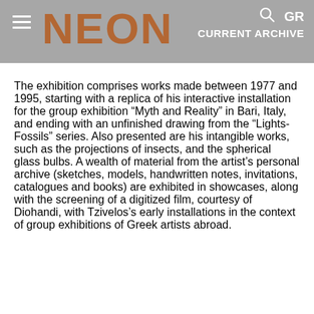NEON | CURRENT ARCHIVE | GR
The exhibition comprises works made between 1977 and 1995, starting with a replica of his interactive installation for the group exhibition “Myth and Reality” in Bari, Italy, and ending with an unfinished drawing from the “Lights-Fossils” series. Also presented are his intangible works, such as the projections of insects, and the spherical glass bulbs. A wealth of material from the artist’s personal archive (sketches, models, handwritten notes, invitations, catalogues and books) are exhibited in showcases, along with the screening of a digitized film, courtesy of Diohandi, with Tzivelos’s early installations in the context of group exhibitions of Greek artists abroad.